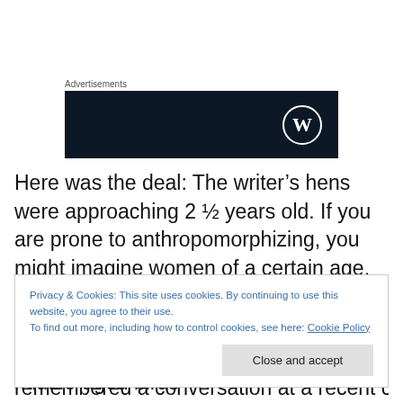Advertisements
[Figure (logo): WordPress logo on dark navy background advertisement banner]
Here was the deal: The writer’s hens were approaching 2 ½ years old. If you are prone to anthropomorphizing, you might imagine women of a certain age, still vibrant and beautiful but declining in fertility. Since urban residents are only allowed six backyard hens, these middle-aged birds
Privacy & Cookies: This site uses cookies. By continuing to use this website, you agree to their use.
To find out more, including how to control cookies, see here: Cookie Policy
Close and accept
remembered a conversation at a recent coop potluck about